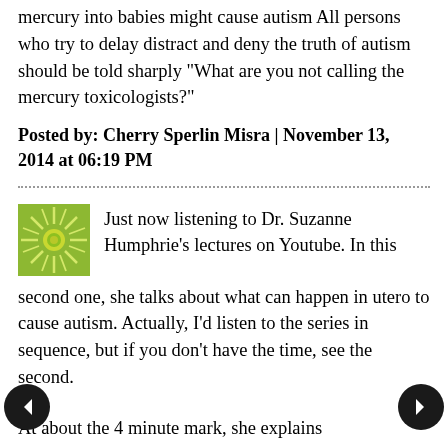mercury into babies might cause autism All persons who try to delay distract and deny the truth of autism should be told sharply "What are you not calling the mercury toxicologists?"
Posted by: Cherry Sperlin Misra | November 13, 2014 at 06:19 PM
Just now listening to Dr. Suzanne Humphrie's lectures on Youtube. In this second one, she talks about what can happen in utero to cause autism. Actually, I'd listen to the series in sequence, but if you don't have the time, see the second. At about the 4 minute mark, she explains